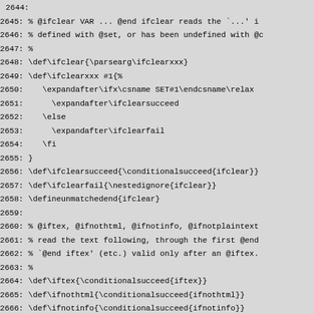2644:
2645: % @ifclear VAR ... @end ifclear reads the `...' i
2646: % defined with @set, or has been undefined with @c
2647: %
2648: \def\ifclear{\parsearg\ifclearxxx}
2649: \def\ifclearxxx #1{%
2650:    \expandafter\ifx\csname SET#1\endcsname\relax
2651:      \expandafter\ifclearsucceed
2652:    \else
2653:      \expandafter\ifclearfail
2654:    \fi
2655: }
2656: \def\ifclearsucceed{\conditionalsucceed{ifclear}}
2657: \def\ifclearfail{\nestedignore{ifclear}}
2658: \defineunmatchedend{ifclear}
2659:
2660: % @iftex, @ifnothtml, @ifnotinfo, @ifnotplaintext
2661: % read the text following, through the first @end
2662: % `@end iftex' (etc.) valid only after an @iftex.
2663: %
2664: \def\iftex{\conditionalsucceed{iftex}}
2665: \def\ifnothtml{\conditionalsucceed{ifnothtml}}
2666: \def\ifnotinfo{\conditionalsucceed{ifnotinfo}}
2667: \def\ifnotplaintext{\conditionalsucceed{ifnotplai
2668: \defineunmatchedend{iftex}
2669: \defineunmatchedend{ifnothtml}
2670: \defineunmatchedend{ifnotinfo}
2671: \defineunmatchedend{ifnotplaintext}
2672:
2673: % We can't just want to start a group at @iftex (